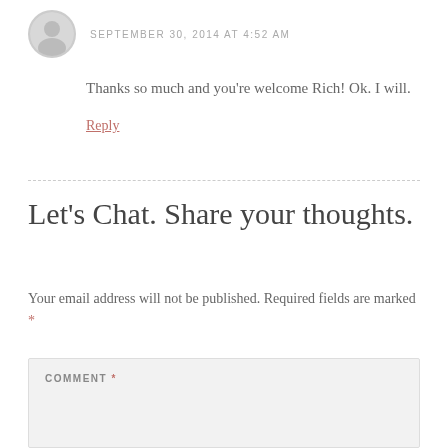SEPTEMBER 30, 2014 AT 4:52 AM
Thanks so much and you're welcome Rich! Ok. I will.
Reply
Let's Chat. Share your thoughts.
Your email address will not be published. Required fields are marked *
COMMENT *